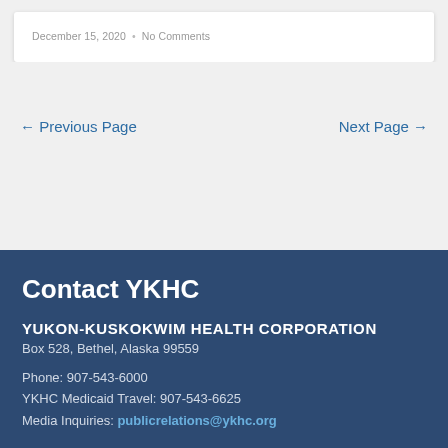December 15, 2020 • No Comments
← Previous Page    Next Page →
Contact YKHC
YUKON-KUSKOKWIM HEALTH CORPORATION
Box 528, Bethel, Alaska 99559

Phone: 907-543-6000
YKHC Medicaid Travel: 907-543-6625
Media Inquiries: publicrelations@ykhc.org